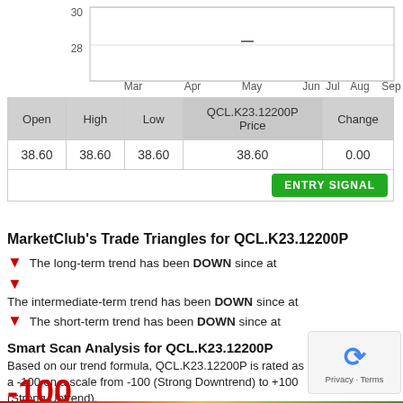[Figure (line-chart): Line chart showing price from Mar to Sep, with values around 28-30 visible at top]
| Open | High | Low | QCL.K23.12200P Price | Change |
| --- | --- | --- | --- | --- |
| 38.60 | 38.60 | 38.60 | 38.60 | 0.00 |
MarketClub's Trade Triangles for QCL.K23.12200P
The long-term trend has been DOWN since at
The intermediate-term trend has been DOWN since at
The short-term trend has been DOWN since at
Smart Scan Analysis for QCL.K23.12200P
Based on our trend formula, QCL.K23.12200P is rated as a -100 on a scale from -100 (Strong Downtrend) to +100 (Strong Uptrend).
-100